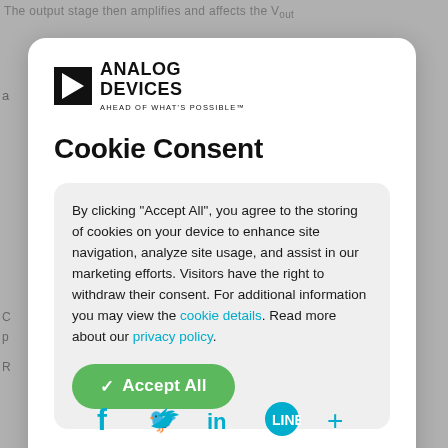[Figure (logo): Analog Devices logo with triangle icon and text 'ANALOG DEVICES AHEAD OF WHAT'S POSSIBLE']
Cookie Consent
By clicking “Accept All”, you agree to the storing of cookies on your device to enhance site navigation, analyze site usage, and assist in our marketing efforts. Visitors have the right to withdraw their consent. For additional information you may view the cookie details. Read more about our privacy policy.
[Figure (screenshot): Accept All green button with checkmark]